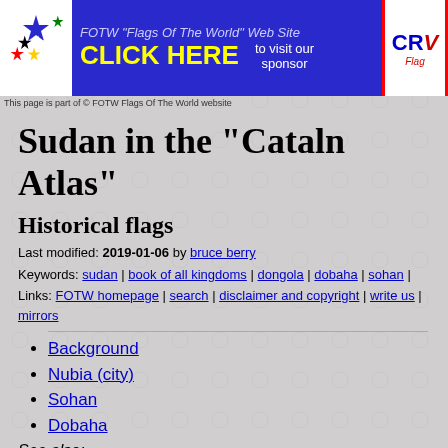[Figure (infographic): FOTW Flags Of The World website banner with stars logo on left, 'CLICK HERE to visit our sponsor' text, and CRV Flags logo on right]
This page is part of © FOTW Flags Of The World website
Sudan in the "Cataln Atlas"
Historical flags
Last modified: 2019-01-06 by bruce berry
Keywords: sudan | book of all kingdoms | dongola | dobaha | sohan |
Links: FOTW homepage | search | disclaimer and copyright | write us | mirrors
Background
Nubia (city)
Sohan
Dobaha
See also:
Sudan